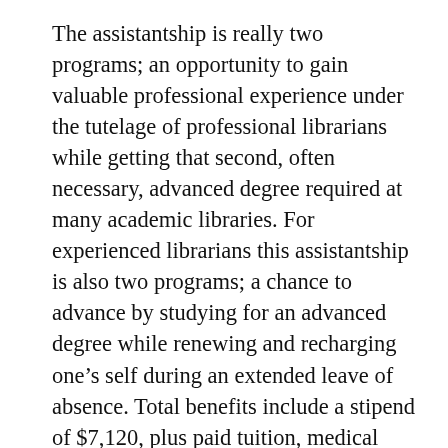The assistantship is really two programs; an opportunity to gain valuable professional experience under the tutelage of professional librarians while getting that second, often necessary, advanced degree required at many academic libraries. For experienced librarians this assistantship is also two programs; a chance to advance by studying for an advanced degree while renewing and recharging one’s self during an extended leave of absence. Total benefits include a stipend of $7,120, plus paid tuition, medical insurance and health center fees equaling approximately $13,888 per academic year. Summer study and employment opportunities may also be available.